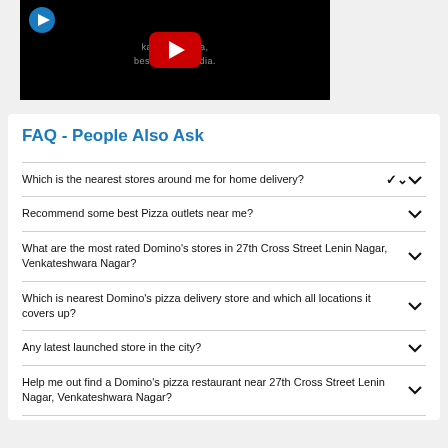[Figure (screenshot): YouTube video thumbnail with Domino's logo, play button, and partial text on black background]
FAQ - People Also Ask
Which is the nearest stores around me for home delivery?
Recommend some best Pizza outlets near me?
What are the most rated Domino's stores in 27th Cross Street Lenin Nagar, Venkateshwara Nagar?
Which is nearest Domino's pizza delivery store and which all locations it covers up?
Any latest launched store in the city?
Help me out find a Domino's pizza restaurant near 27th Cross Street Lenin Nagar, Venkateshwara Nagar?